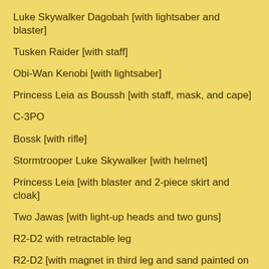Luke Skywalker Dagobah [with lightsaber and blaster]
Tusken Raider [with staff]
Obi-Wan Kenobi [with lightsaber]
Princess Leia as Boussh [with staff, mask, and cape]
C-3PO
Bossk [with rifle]
Stormtrooper Luke Skywalker [with helmet]
Princess Leia [with blaster and 2-piece skirt and cloak]
Two Jawas [with light-up heads and two guns]
R2-D2 with retractable leg
R2-D2 [with magnet in third leg and sand painted on legs from desert playset]